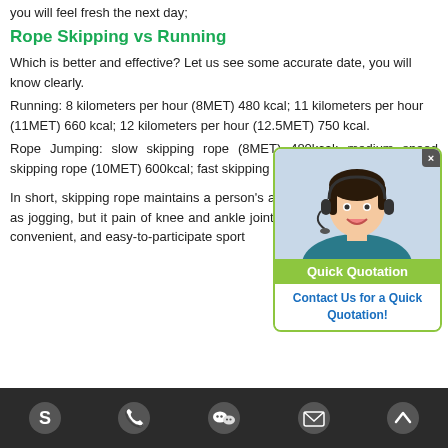you will feel fresh the next day;
Rope Skipping vs Running
Which is better and effective? Let us see some accurate date, you will know clearly.
Running: 8 kilometers per hour (8MET) 480 kcal; 11 kilometers per hour (11MET) 660 kcal; 12 kilometers per hour (12.5MET) 750 kcal.
Rope Jumping: slow skipping rope (8MET) 480kcal; medium speed skipping rope (10MET) 600kcal; fast skipping rope (12MET) 720kcal.
In short, skipping rope maintains a person's approximately the same level as jogging, but it pain of knee and ankle joints caused by running simple, convenient, and easy-to-participate sport
[Figure (photo): Customer service representative with headset, with Quick Quotation popup and Contact Us for a Quick Quotation! button]
Navigation bar with Skype, phone, WeChat, email, and up-arrow icons